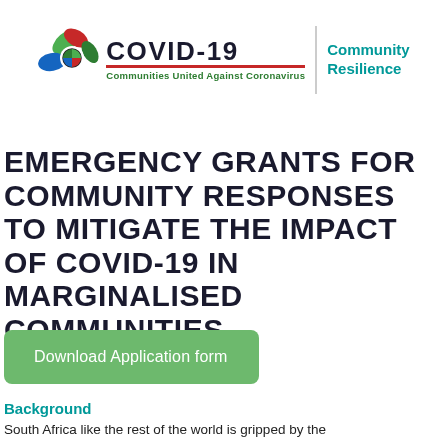[Figure (logo): COVID-19 Communities United Against Coronavirus logo with colorful globe icon on left, bold COVID-19 text with red underline, tagline 'Communities United Against Coronavirus', vertical divider, and 'Community Resilience' text in teal on right]
EMERGENCY GRANTS FOR COMMUNITY RESPONSES TO MITIGATE THE IMPACT OF COVID-19 IN MARGINALISED COMMUNITIES
Download Application form
Background
South Africa like the rest of the world is gripped by the